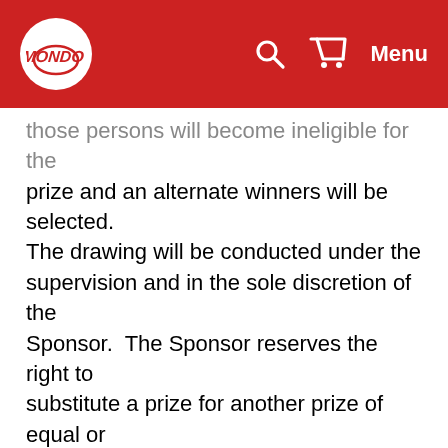Mondo [logo] — Menu
those persons will become ineligible for the prize and an alternate winners will be selected. The drawing will be conducted under the supervision and in the sole discretion of the Sponsor.  The Sponsor reserves the right to substitute a prize for another prize of equal or greater value at any time. All taxes imposed on any prize (e.g., under federal or state tax laws) are the sole responsibility of the winners. All ownership rights in and to the name and marks used in, on or to describe the prize are reserved to the owner thereof. If the winners do not accept or use the entire prize, the unaccepted or unused part of the prize will be forfeited and Sponsor will have no further obligation with respect to that prize or portion of the prize.